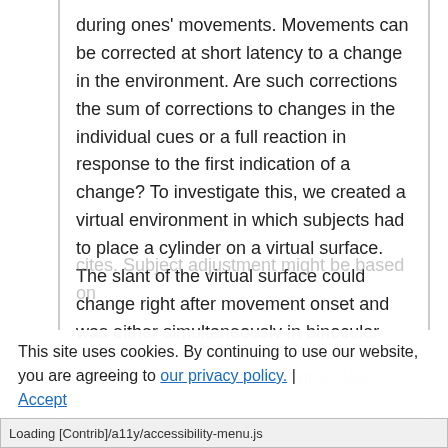during ones' movements. Movements can be corrected at short latency to a change in the environment. Are such corrections the sum of corrections to changes in the individual cues or a full reaction in response to the first indication of a change? To investigate this, we created a virtual environment in which subjects had to place a cylinder on a virtual surface. The slant of the virtual surface could change right after movement onset and was either simultaneously in binocular disparity and monocular cues or only in one of the
This site uses cookies. By continuing to use our website, you are agreeing to our privacy policy. Accept
Loading [Contrib]/a11y/accessibility-menu.js